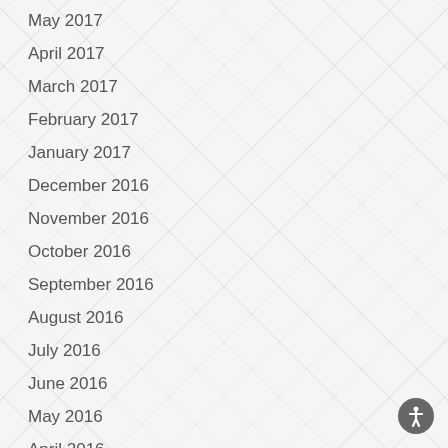May 2017
April 2017
March 2017
February 2017
January 2017
December 2016
November 2016
October 2016
September 2016
August 2016
July 2016
June 2016
May 2016
April 2016
March 2016
January 2015
December 2014